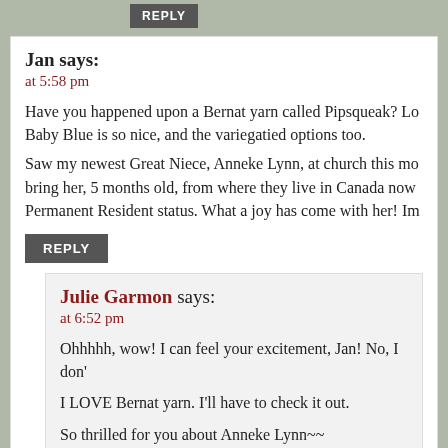REPLY
Jan says:
at 5:58 pm
Have you happened upon a Bernat yarn called Pipsqueak? Lo Baby Blue is so nice, and the variegatied options too. Saw my newest Great Niece, Anneke Lynn, at church this mo bring her, 5 months old, from where they live in Canada now Permanent Resident status. What a joy has come with her! Im
REPLY
Julie Garmon says:
at 6:52 pm
Ohhhhh, wow! I can feel your excitement, Jan! No, I don' I LOVE Bernat yarn. I'll have to check it out. So thrilled for you about Anneke Lynn~~ Much love,